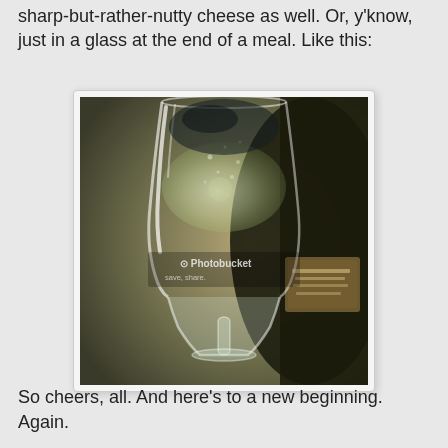sharp-but-rather-nutty cheese as well. Or, y'know, just in a glass at the end of a meal. Like this:
[Figure (photo): A close-up photograph of a champagne/wine glass filled with a clear sparkling white wine or champagne, with a dark wine bottle blurred in the background. A Photobucket watermark is visible on the image.]
So cheers, all. And here's to a new beginning. Again.